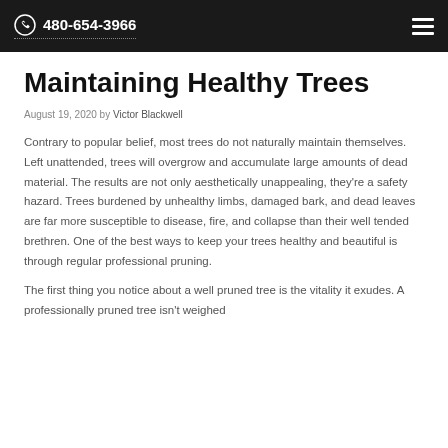480-654-3966
Maintaining Healthy Trees
August 19, 2020 by Victor Blackwell
Contrary to popular belief, most trees do not naturally maintain themselves. Left unattended, trees will overgrow and accumulate large amounts of dead material. The results are not only aesthetically unappealing, they're a safety hazard. Trees burdened by unhealthy limbs, damaged bark, and dead leaves are far more susceptible to disease, fire, and collapse than their well tended brethren. One of the best ways to keep your trees healthy and beautiful is through regular professional pruning.
The first thing you notice about a well pruned tree is the vitality it exudes. A professionally pruned tree isn't weighed